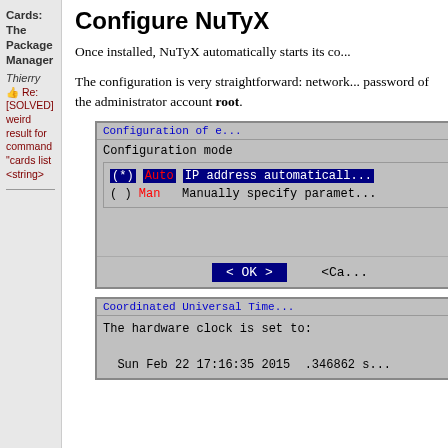Cards: The Package Manager
Thierry
👍 Re: [SOLVED] weird result for command "cards list <string>"
Configure NuTyX
Once installed, NuTyX automatically starts its co...
The configuration is very straightforward: network... password of the administrator account root.
[Figure (screenshot): Terminal dialog showing Configuration mode with Auto and Man options, and OK button]
[Figure (screenshot): Terminal dialog showing Coordinated Universal Time with hardware clock date Sun Feb 22 17:16:35 2015 .346862 s]